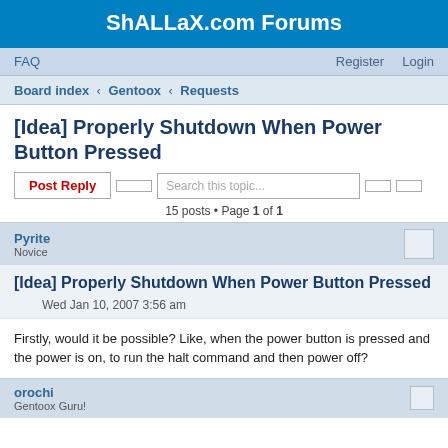ShALLaX.com Forums
FAQ  Register  Login
Board index › Gentoox › Requests
[Idea] Properly Shutdown When Power Button Pressed
Post Reply  Search this topic...  15 posts • Page 1 of 1
Pyrite
Novice
[Idea] Properly Shutdown When Power Button Pressed
Wed Jan 10, 2007 3:56 am
Firstly, would it be possible? Like, when the power button is pressed and the power is on, to run the halt command and then power off?
orochi
Gentoox Guru!